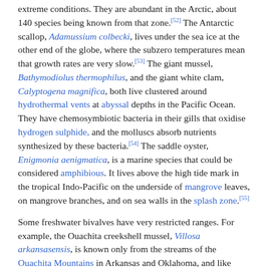extreme conditions. They are abundant in the Arctic, about 140 species being known from that zone.[52] The Antarctic scallop, Adamussium colbecki, lives under the sea ice at the other end of the globe, where the subzero temperatures mean that growth rates are very slow.[53] The giant mussel, Bathymodiolus thermophilus, and the giant white clam, Calyptogena magnifica, both live clustered around hydrothermal vents at abyssal depths in the Pacific Ocean. They have chemosymbiotic bacteria in their gills that oxidise hydrogen sulphide, and the molluscs absorb nutrients synthesized by these bacteria.[54] The saddle oyster, Enigmonia aenigmatica, is a marine species that could be considered amphibious. It lives above the high tide mark in the tropical Indo-Pacific on the underside of mangrove leaves, on mangrove branches, and on sea walls in the splash zone.[55]
Some freshwater bivalves have very restricted ranges. For example, the Ouachita creekshell mussel, Villosa arkansasensis, is known only from the streams of the Ouachita Mountains in Arkansas and Oklahoma, and like several other freshwater mussel species from the southeastern US, it is in danger of extinction.[56] In contrast, a few species of freshwater bivalves, including the golden